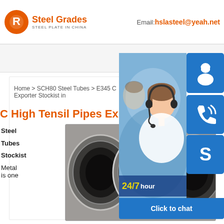Steel Grades - STEEL PLATE IN CHINA | Email: hslasteel@yeah.net
Home > SCH80 Steel Tubes > E345 C Exporter Stockist in
C High Tensil Pipes Exporter
Steel Tubes Stockist
Metal is one
[Figure (photo): Three large steel pipes shown end-on, revealing hollow circular cross-sections with thick walls]
[Figure (photo): Customer service representative wearing headset, smiling, with 24/7 hour support overlay and chat buttons (headset icon, phone icon, Skype icon) and Click to chat button]